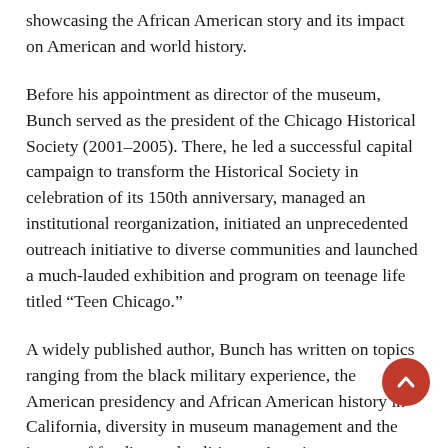showcasing the African American story and its impact on American and world history.
Before his appointment as director of the museum, Bunch served as the president of the Chicago Historical Society (2001–2005). There, he led a successful capital campaign to transform the Historical Society in celebration of its 150th anniversary, managed an institutional reorganization, initiated an unprecedented outreach initiative to diverse communities and launched a much-lauded exhibition and program on teenage life titled “Teen Chicago.”
A widely published author, Bunch has written on topics ranging from the black military experience, the American presidency and African American history in California, diversity in museum management and the impact of funding and politics on American museums. His most recent bo… A Fool’s Errand: Creating the National Museum of African American History and Culture in the Age of Bush, Obama…